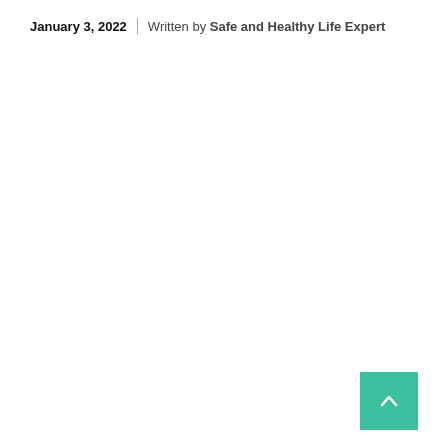January 3, 2022 | Written by Safe and Healthy Life Expert
[Figure (other): Back to top button — teal/green square with a white upward-pointing chevron arrow]